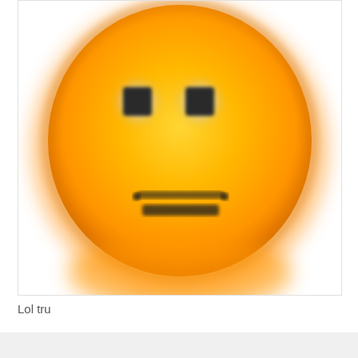[Figure (illustration): A large blurry orange/yellow emoji face with square dark eyes and a flat/slight smile mouth, rendered in a pixelated blurry style.]
Lol tru